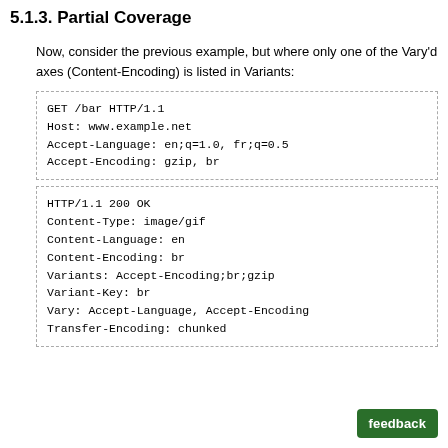5.1.3. Partial Coverage
Now, consider the previous example, but where only one of the Vary'd axes (Content-Encoding) is listed in Variants:
GET /bar HTTP/1.1
Host: www.example.net
Accept-Language: en;q=1.0, fr;q=0.5
Accept-Encoding: gzip, br
HTTP/1.1 200 OK
Content-Type: image/gif
Content-Language: en
Content-Encoding: br
Variants: Accept-Encoding;br;gzip
Variant-Key: br
Vary: Accept-Language, Accept-Encoding
Transfer-Encoding: chunked